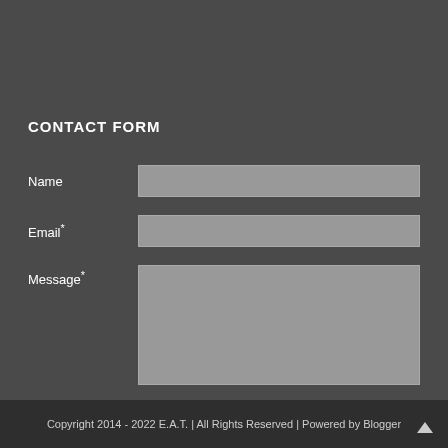CONTACT FORM
Name
Email*
Message*
Send
Copyright 2014 - 2022 E.A.T. | All Rights Reserved | Powered by Blogger